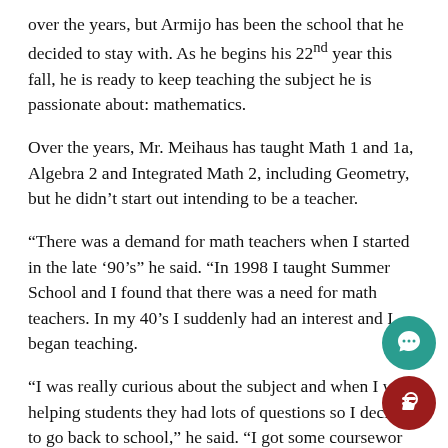over the years, but Armijo has been the school that he decided to stay with. As he begins his 22nd year this fall, he is ready to keep teaching the subject he is passionate about: mathematics.
Over the years, Mr. Meihaus has taught Math 1 and 1a, Algebra 2 and Integrated Math 2, including Geometry, but he didn't start out intending to be a teacher.
“There was a demand for math teachers when I started in the late ’90’s” he said. “In 1998 I taught Summer School and I found that there was a need for math teachers. In my 40’s I suddenly had an interest and I began teaching.
“I was really curious about the subject and when I was helping students they had lots of questions so I decided to go back to school,” he said. “I got some coursework done in math so I could get my credential and along the